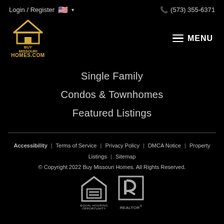Login / Register   🇺🇸 ▾   (573) 355-6371
[Figure (logo): Buy Missouri Homes logo with house/roof icon in gold and text BUY MISSOURI HOMES.COM in gold]
≡ MENU
Single Family
Condos & Townhomes
Featured Listings
Accessibility | Terms of Service | Privacy Policy | DMCA Notice | Property Listings | Sitemap
© Copyright 2022 Buy Missouri Homes. All Rights Reserved.
[Figure (logo): Equal Housing Opportunity logo - house with equals sign]
[Figure (logo): REALTOR® logo]